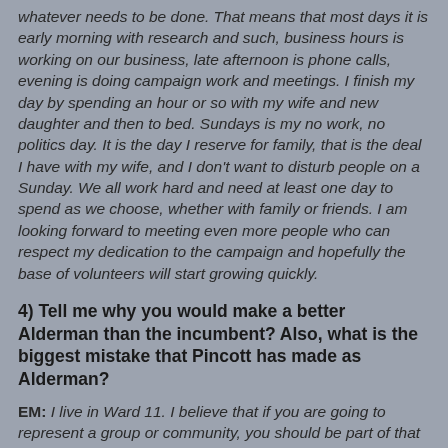whatever needs to be done. That means that most days it is early morning with research and such, business hours is working on our business, late afternoon is phone calls, evening is doing campaign work and meetings. I finish my day by spending an hour or so with my wife and new daughter and then to bed. Sundays is my no work, no politics day. It is the day I reserve for family, that is the deal I have with my wife, and I don't want to disturb people on a Sunday. We all work hard and need at least one day to spend as we choose, whether with family or friends. I am looking forward to meeting even more people who can respect my dedication to the campaign and hopefully the base of volunteers will start growing quickly.
4) Tell me why you would make a better Alderman than the incumbent? Also, what is the biggest mistake that Pincott has made as Alderman?
EM: I live in Ward 11. I believe that if you are going to represent a group or community, you should be part of that community. Because of this, the issues facing this ward are